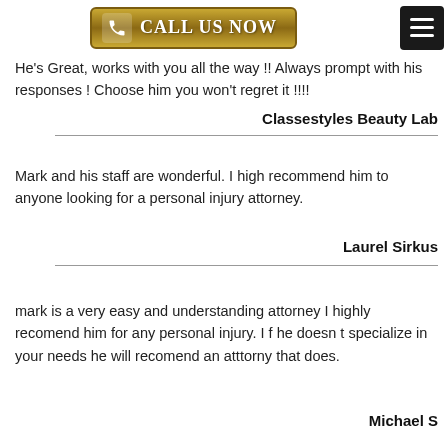[Figure (other): Golden 'Call Us Now' button with phone icon on the left and a black hamburger menu button on the right]
He's Great, works with you all the way !! Always prompt with his responses ! Choose him you won't regret it !!!!
Classestyles Beauty Lab
Mark and his staff are wonderful. I high recommend him to anyone looking for a personal injury attorney.
Laurel Sirkus
mark is a very easy and understanding attorney I highly recomend him for any personal injury. I f he doesn t specialize in your needs he will recomend an atttorny that does.
Michael S